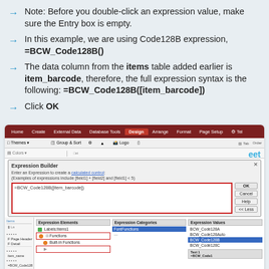Note: Before you double-click an expression value, make sure the Entry box is empty.
In this example, we are using Code128B expression, =BCW_Code128B()
The data column from the items table added earlier is item_barcode, therefore, the full expression syntax is the following: =BCW_Code128B([item_barcode])
Click OK
[Figure (screenshot): Screenshot of Microsoft Access Expression Builder dialog with =BCW_Code128B([item_barcode]) entered, showing ribbon tabs (Home, Create, External Data, Database Tools, Design, Arrange, Format, Page Setup), expression categories including BuiltIn Functions, and expression values including BCW_Code128B highlighted.]